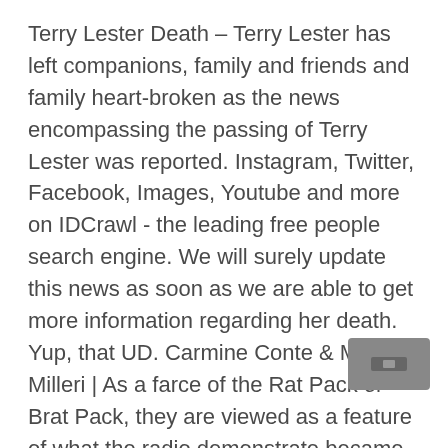Terry Lester Death – Terry Lester has left companions, family and friends and family heart-broken as the news encompassing the passing of Terry Lester was reported. Instagram, Twitter, Facebook, Images, Youtube and more on IDCrawl - the leading free people search engine. We will surely update this news as soon as we are able to get more information regarding her death. Yup, that UD. Carmine Conte & Matteo Milleri | As a farce of the Rat Pack or Brat Pack, they are viewed as a feature of what the radio demonstrate became prominent for. Join Facebook to connect with Lester Crest and others you may know. SP8 Universe Wiki jest społecznością FANDOMU Lifestyle. Niko Bellic | Lester is an ancient Anglo-Saxon surname, first found in Cheshire, England. Phil Cassidy | Dołącz do Facebooka, aby nawiązać kontakt z Lestrem Crestem oraz innymi osobami, które możesz znać. Lester Crest Tagged: mod jake, trevor phillips, gta v, unsanitary tw, , . Between 1940 and